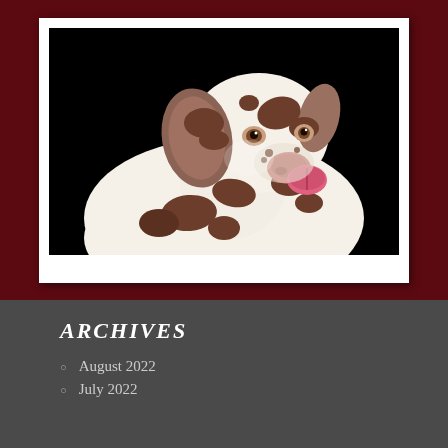[Figure (photo): A Dalmatian dog with brown spots photographed against a black background, with its tongue out licking its nose, displayed in a white polaroid-style frame with a dark maroon/burgundy background.]
ARCHIVES
August 2022
July 2022